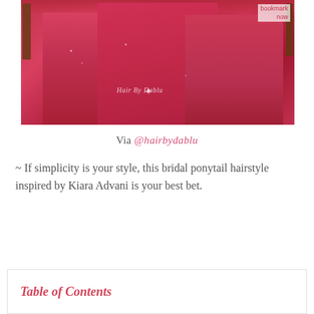[Figure (photo): Photo of two or three women in deep red/crimson bridal gowns with embellishments. The dresses have a flowing silhouette. A watermark reading 'Hair By Dablu' is visible on the image along with a 'bookmark now' overlay in the top right corner.]
Via @hairbydablu
~ If simplicity is your style, this bridal ponytail hairstyle inspired by Kiara Advani is your best bet.
Table of Contents